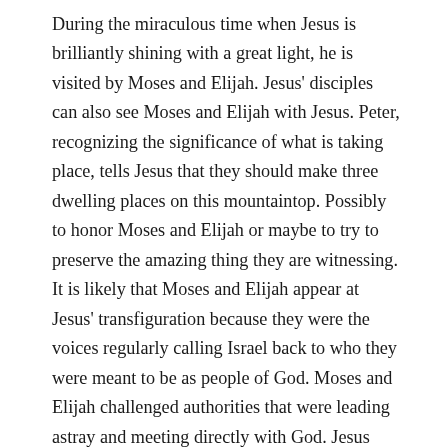During the miraculous time when Jesus is brilliantly shining with a great light, he is visited by Moses and Elijah. Jesus' disciples can also see Moses and Elijah with Jesus. Peter, recognizing the significance of what is taking place, tells Jesus that they should make three dwelling places on this mountaintop. Possibly to honor Moses and Elijah or maybe to try to preserve the amazing thing they are witnessing. It is likely that Moses and Elijah appear at Jesus' transfiguration because they were the voices regularly calling Israel back to who they were meant to be as people of God. Moses and Elijah challenged authorities that were leading astray and meeting directly with God. Jesus also will continue to challenge the authorities and it will ultimately lead to his death on a cross.